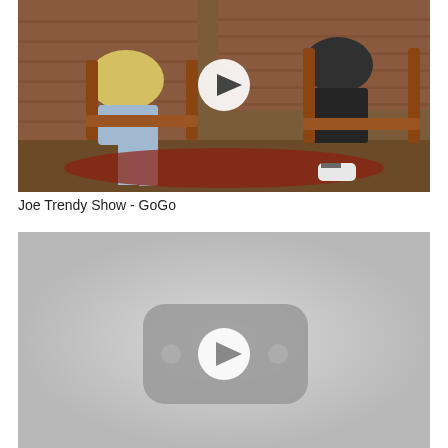[Figure (screenshot): Video thumbnail showing three people seated in chairs against a brick wall background, with a play button overlay in the center. Two people on the left, one on the right holding a notebook.]
Joe Trendy Show - GoGo
[Figure (screenshot): Gray video placeholder thumbnail with a rounded rectangle YouTube-style play button icon in the center, on a light gray background.]